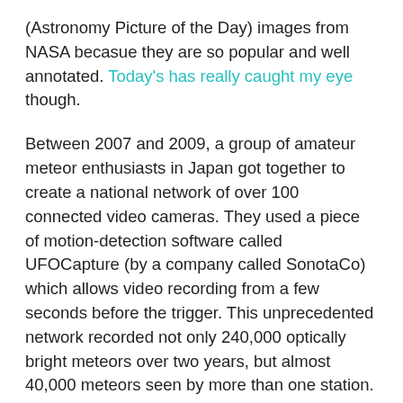(Astronomy Picture of the Day) images from NASA becasue they are so popular and well annotated. Today's has really caught my eye though.
Between 2007 and 2009, a group of amateur meteor enthusiasts in Japan got together to create a national network of over 100 connected video cameras. They used a piece of motion-detection software called UFOCapture (by a company called SonotaCo) which allows video recording from a few seconds before the trigger. This unprecedented network recorded not only 240,000 optically bright meteors over two years, but almost 40,000 meteors seen by more than one station.
The multiple-station events are particularly interesting because they enabled observers to trace the motion of the meteors back into the Solar System, and so determine from whence this...